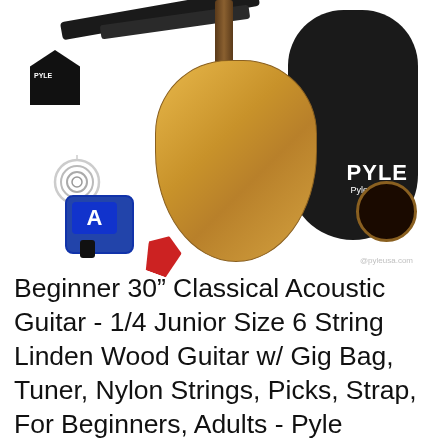[Figure (photo): Product photo of a Pyle Beginner 30-inch Classical Acoustic Guitar package showing the natural wood guitar, black gig bag with PYLE branding, guitar strap, clip-on digital tuner showing 'A', red guitar pick, nylon strings coil, and a black triangular Pyle pick holder with picks, all arranged on a white background.]
Beginner 30" Classical Acoustic Guitar - 1/4 Junior Size 6 String Linden Wood Guitar w/ Gig Bag, Tuner, Nylon Strings, Picks, Strap, For Beginners, Adults - Pyle